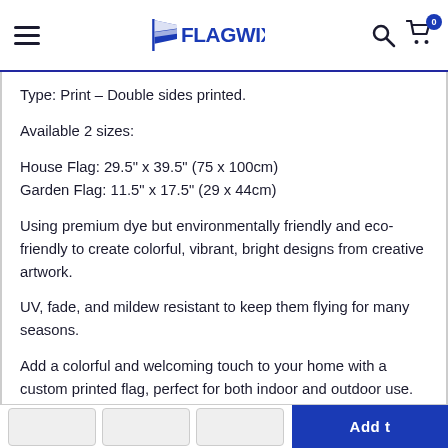FLAGWIX
Type: Print – Double sides printed.
Available 2 sizes:
House Flag: 29.5" x 39.5" (75 x 100cm)
Garden Flag: 11.5" x 17.5" (29 x 44cm)
Using premium dye but environmentally friendly and eco-friendly to create colorful, vibrant, bright designs from creative artwork.
UV, fade, and mildew resistant to keep them flying for many seasons.
Add a colorful and welcoming touch to your home with a custom printed flag, perfect for both indoor and outdoor use.
The material is light enough to wave even in a